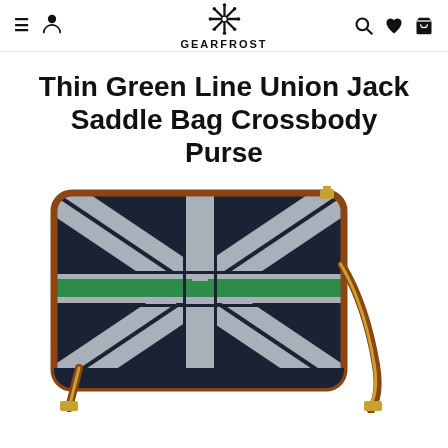GEARFROST
Thin Green Line Union Jack Saddle Bag Crossbody Purse
[Figure (photo): Photo of a crossbody saddle bag featuring a Union Jack design with a thin green horizontal stripe across the center, dark navy/black background with grey diagonal stripes, brown leather trim and strap.]